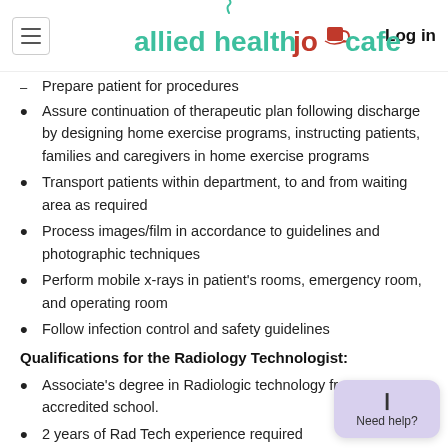alliedhealthjobcafe | Log in
Prepare patient for procedures
Assure continuation of therapeutic plan following discharge by designing home exercise programs, instructing patients, families and caregivers in home exercise programs
Transport patients within department, to and from waiting area as required
Process images/film in accordance to guidelines and photographic techniques
Perform mobile x-rays in patient's rooms, emergency room, and operating room
Follow infection control and safety guidelines
Qualifications for the Radiology Technologist:
Associate's degree in Radiologic technology from an accredited school.
2 years of Rad Tech experience required